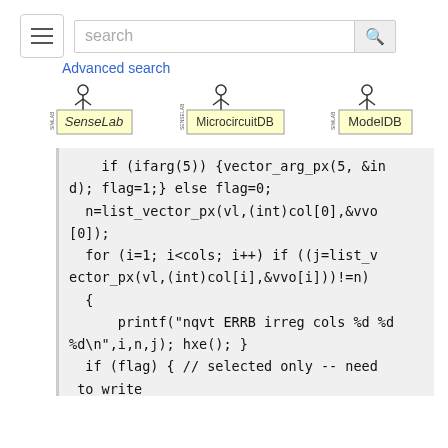[Figure (screenshot): Search bar with hamburger menu icon and search button]
Advanced search
[Figure (logo): SenseLab, MicrocircuitDB, and ModelDB logos from SIMLAB]
if (ifarg(5)) {vector_arg_px(5, &ind); flag=1;} else flag=0;
  n=list_vector_px(vl,(int)col[0],&vvo[0]);
  for (i=1; i<cols; i++) if ((j=list_vector_px(vl,(int)col[i],&vvo[i]))!=n)
  {
      printf("nqvt ERRB irreg cols %d %d %d\n",i,n,j); hxe(); }
  if (flag) { // selected only -- need to write
    } else for (i=0; i<n; i++) {
      for (j=0; j<cols; j++) {
          if (fcd[(int)col[j]]==0) {
            hoc_pushx(vvo[j][i]);
          } else if (fcd[(int)col[j]]==1)
  {
            obo=ivoc_list_item(fcdo, (int)vvo[j][i]);